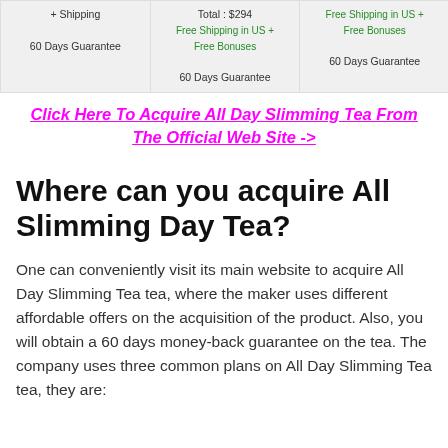| + Shipping
60 Days Guarantee | Total: $294
Free Shipping in US + Free Bonuses
60 Days Guarantee | Free Shipping in US +
Free Bonuses
60 Days Guarantee |
Click Here To Acquire All Day Slimming Tea From The Official Web Site ->
Where can you acquire All Slimming Day Tea?
One can conveniently visit its main website to acquire All Day Slimming Tea tea, where the maker uses different affordable offers on the acquisition of the product. Also, you will obtain a 60 days money-back guarantee on the tea. The company uses three common plans on All Day Slimming Tea tea, they are: